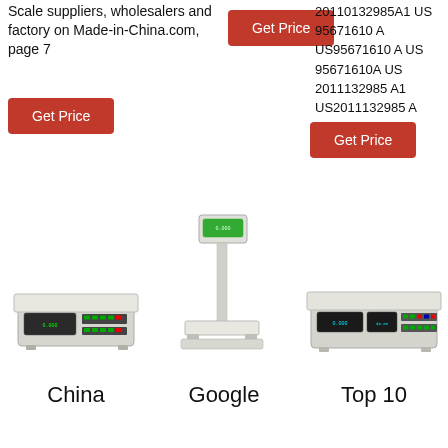Scale suppliers, wholesalers and factory on Made-in-China.com, page 7
[Figure (other): Red 'Get Price' button (top center)]
20110132985A1 US 95671610 A US95671610 A US 95671610A US 2011132985 A1 US2011132985 A
[Figure (other): Red 'Get Price' button (left)]
[Figure (other): Red 'Get Price' button (right)]
[Figure (photo): Photo of a digital weighing scale (China)]
[Figure (photo): Photo of a pole-mounted digital scale (Google)]
[Figure (photo): Photo of a digital price computing scale (Top 10)]
China
Google
Top 10